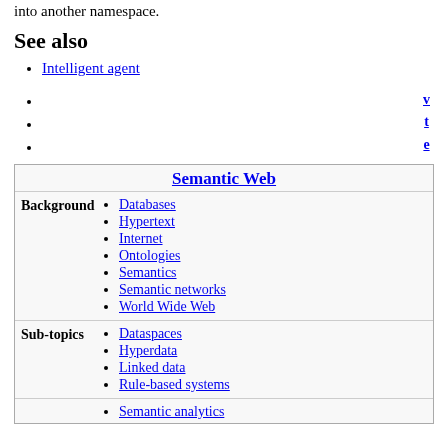into another namespace.
See also
Intelligent agent
v
t
e
Semantic Web
Background
Databases
Hypertext
Internet
Ontologies
Semantics
Semantic networks
World Wide Web
Sub-topics
Dataspaces
Hyperdata
Linked data
Rule-based systems
Semantic analytics